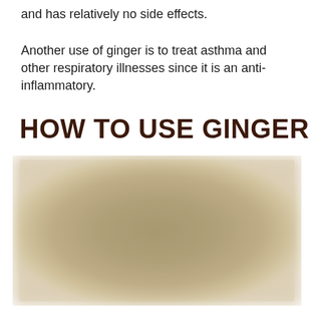and has relatively no side effects.
Another use of ginger is to treat asthma and other respiratory illnesses since it is an anti-inflammatory.
HOW TO USE GINGER
[Figure (photo): A blurred photograph related to ginger usage, shown in muted tan and beige tones.]